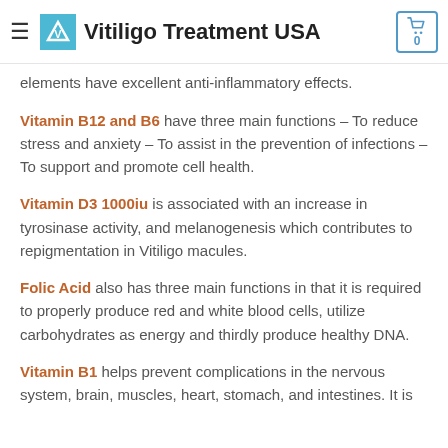Vitiligo Treatment USA
elements have excellent anti-inflammatory effects.
Vitamin B12 and B6 have three main functions – To reduce stress and anxiety – To assist in the prevention of infections – To support and promote cell health.
Vitamin D3 1000iu is associated with an increase in tyrosinase activity, and melanogenesis which contributes to repigmentation in Vitiligo macules.
Folic Acid also has three main functions in that it is required to properly produce red and white blood cells, utilize carbohydrates as energy and thirdly produce healthy DNA.
Vitamin B1 helps prevent complications in the nervous system, brain, muscles, heart, stomach, and intestines. It is